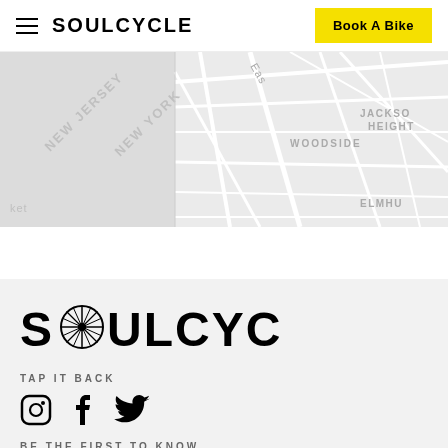SOULCYCLE | Book A Bike
[Figure (map): Street map showing areas including New Jersey, New York, Woodside, Jackson Heights, and Elmhurst neighborhoods]
[Figure (logo): SOULCYCLE large logo with wheel replacing the O]
TAP IT BACK
[Figure (illustration): Social media icons: Instagram, Facebook, Twitter]
BE THE FIRST TO KNOW
Your email address